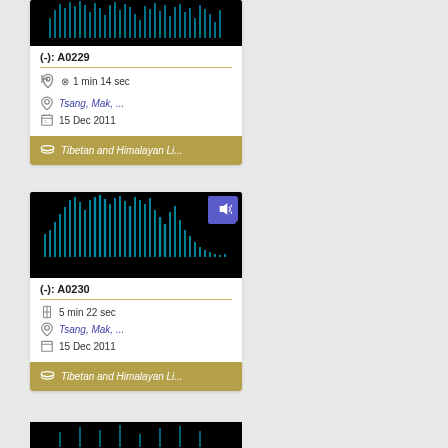[Figure (screenshot): Audio waveform thumbnail — cyan spikes on black background (top, card 1, partially cropped)]
(-): A0229
1 min 14 sec
Tsang, Mak, ...
15 Dec 2011
Tibetan and Himalayan Li...
[Figure (screenshot): Audio waveform thumbnail — cyan waveform on black background with speaker/volume icon top-right (card 2)]
(-): A0230
5 min 22 sec
Tsang, Mak, ...
15 Dec 2011
Tibetan and Himalayan Li...
[Figure (screenshot): Audio waveform thumbnail — partially visible at bottom of page (card 3, cropped)]